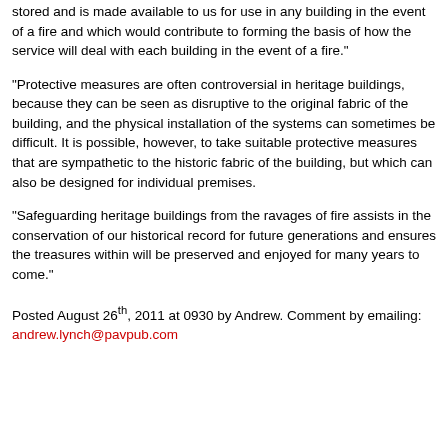stored and is made available to us for use in any building in the event of a fire and which would contribute to forming the basis of how the service will deal with each building in the event of a fire."
"Protective measures are often controversial in heritage buildings, because they can be seen as disruptive to the original fabric of the building, and the physical installation of the systems can sometimes be difficult. It is possible, however, to take suitable protective measures that are sympathetic to the historic fabric of the building, but which can also be designed for individual premises.
"Safeguarding heritage buildings from the ravages of fire assists in the conservation of our historical record for future generations and ensures the treasures within will be preserved and enjoyed for many years to come."
Posted August 26th, 2011 at 0930 by Andrew. Comment by emailing: andrew.lynch@pavpub.com